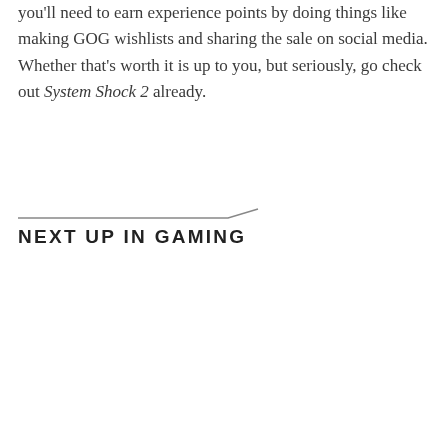you'll need to earn experience points by doing things like making GOG wishlists and sharing the sale on social media. Whether that's worth it is up to you, but seriously, go check out System Shock 2 already.
NEXT UP IN GAMING